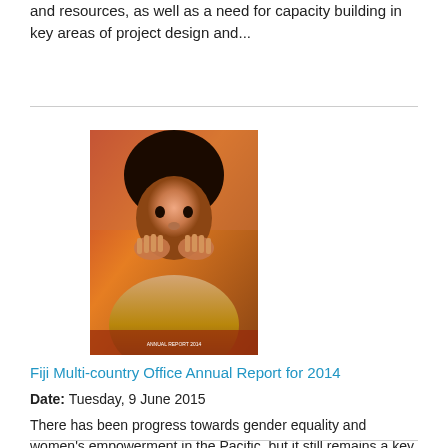and resources, as well as a need for capacity building in key areas of project design and...
[Figure (photo): Cover image of the Fiji Multi-country Office Annual Report for 2014, showing a Pacific woman with hands clasped near her face]
Fiji Multi-country Office Annual Report for 2014
Date: Tuesday, 9 June 2015
There has been progress towards gender equality and women's empowerment in the Pacific, but it still remains a key challenge. The Millennium Development Goals have helped create awareness and gain political support for efforts to reduce poverty and achieve sustainable development across the globe. However, with the Millennium Development Goals coming to a close in 2015, the Pacific region's progress towards achieving targets has been slow and uneven and many gender disparities still...